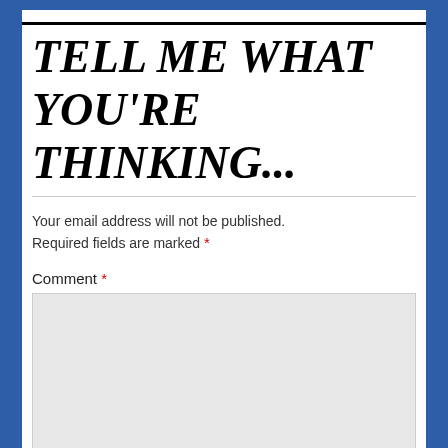TELL ME WHAT YOU'RE THINKING...
Your email address will not be published. Required fields are marked *
Comment *